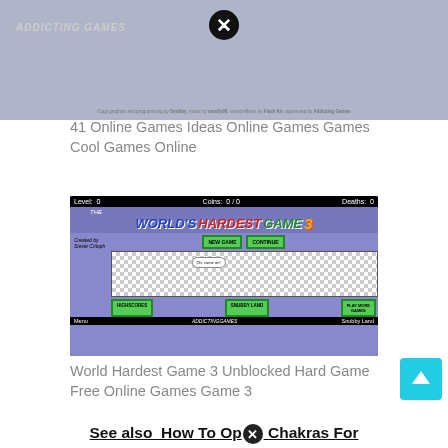[Figure (screenshot): Partial screenshot of an online game (Snubby Land / Addicting Games) with a close button overlay]
41 Online Games Ideas Online Games Games Cool Games Online
[Figure (screenshot): Screenshot of World's Hardest Game 3 on AddictingGames, showing the game menu with Level: 0, Coins: 0/0, Deaths: 0, NEW GAME, CONTINUE, HIGHSCORES, SNUBBY LAND, PLAY MORE GAMES buttons, and a speech bubble saying Oh, come on!]
World Hardest Game 3 Unblocked Hard Game Free Online Games Game 3
See also  How To Op⊗ Chakras For